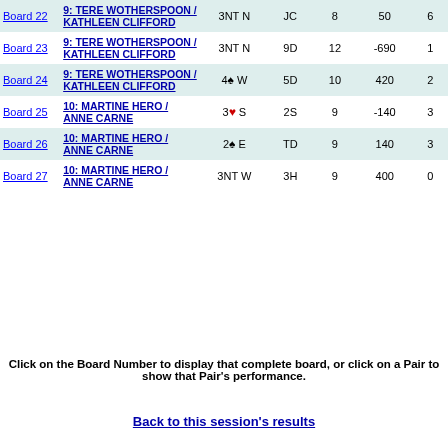| Board | Pair | Contract | Lead | Tricks | Score | Pts |
| --- | --- | --- | --- | --- | --- | --- |
| Board 22 | 9: TERE WOTHERSPOON / KATHLEEN CLIFFORD | 3NT N | JC | 8 | 50 | 6 |
| Board 23 | 9: TERE WOTHERSPOON / KATHLEEN CLIFFORD | 3NT N | 9D | 12 | -690 | 1 |
| Board 24 | 9: TERE WOTHERSPOON / KATHLEEN CLIFFORD | 4♠ W | 5D | 10 | 420 | 2 |
| Board 25 | 10: MARTINE HERO / ANNE CARNE | 3♥ S | 2S | 9 | -140 | 3 |
| Board 26 | 10: MARTINE HERO / ANNE CARNE | 2♠ E | TD | 9 | 140 | 3 |
| Board 27 | 10: MARTINE HERO / ANNE CARNE | 3NT W | 3H | 9 | 400 | 0 |
Click on the Board Number to display that complete board, or click on a Pair to show that Pair's performance.
Back to this session's results